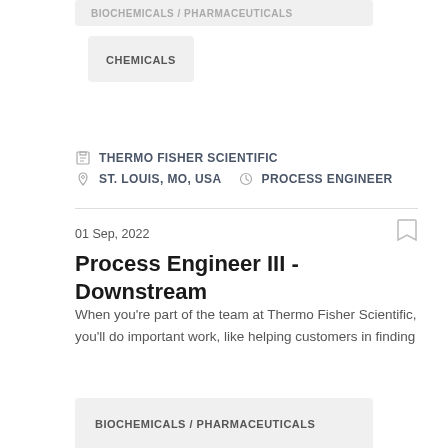BIOCHEMICALS / PHARMACEUTICALS
CHEMICALS
THERMO FISHER SCIENTIFIC
ST. LOUIS, MO, USA   PROCESS ENGINEER
01 Sep, 2022
Process Engineer III - Downstream
When you’re part of the team at Thermo Fisher Scientific, you’ll do important work, like helping customers in finding
BIOCHEMICALS / PHARMACEUTICALS